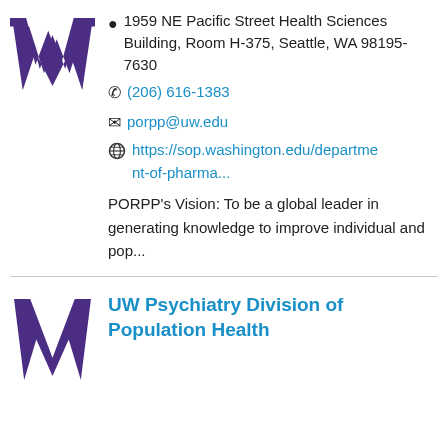[Figure (logo): University of Washington purple W logo (top, partially cropped)]
1959 NE Pacific Street Health Sciences Building, Room H-375, Seattle, WA 98195-7630
(206) 616-1383
porpp@uw.edu
https://sop.washington.edu/department-of-pharma...
PORPP's Vision: To be a global leader in generating knowledge to improve individual and pop...
[Figure (logo): University of Washington purple W logo (bottom section)]
UW Psychiatry Division of Population Health